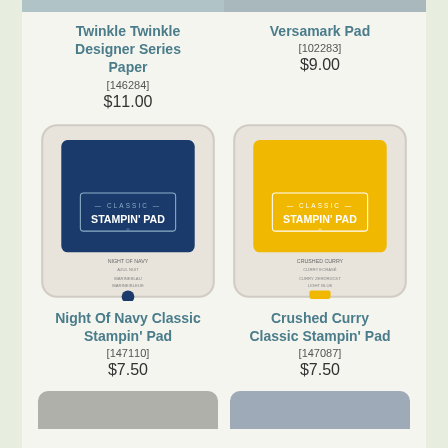[Figure (photo): Partial top images of two products (cropped at top of page)]
Twinkle Twinkle Designer Series Paper [146284] $11.00
Versamark Pad [102283] $9.00
[Figure (photo): Night Of Navy Classic Stampin' Pad product photo - blue ink pad]
[Figure (photo): Crushed Curry Classic Stampin' Pad product photo - yellow ink pad]
Night Of Navy Classic Stampin' Pad [147110] $7.50
Crushed Curry Classic Stampin' Pad [147087] $7.50
[Figure (photo): Partial bottom images of two more products (cropped at bottom of page)]